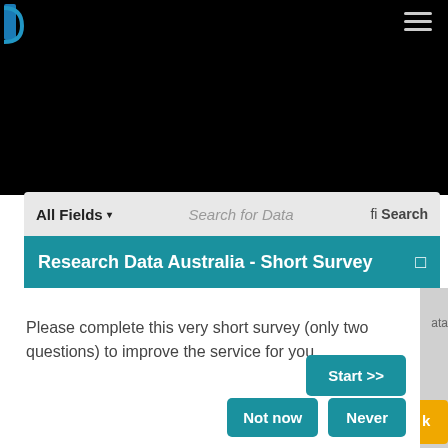[Figure (screenshot): Black navigation bar at top with blue partial-circle logo top-left and hamburger menu icon top-right, on a dark/black website background]
All Fields ▾   Search for Data   fi Search
Research Data Australia - Short Survey
Please complete this very short survey (only two questions) to improve the service for you.
Start >>
Not now
Never